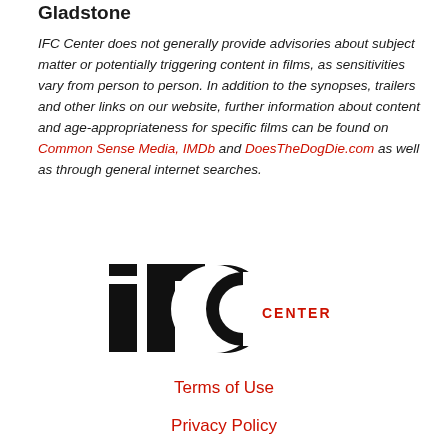Gladstone
IFC Center does not generally provide advisories about subject matter or potentially triggering content in films, as sensitivities vary from person to person. In addition to the synopses, trailers and other links on our website, further information about content and age-appropriateness for specific films can be found on Common Sense Media, IMDb and DoesTheDogDie.com as well as through general internet searches.
[Figure (logo): IFC Center logo in black and red]
Terms of Use
Privacy Policy